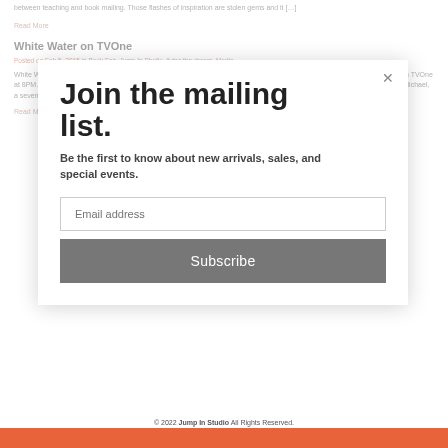between teaching and book mailing. Those flashes of inspiration are stolen gems and it […]
Read More
White Water on TVOne
Posted on Feb 5, 2015 in Book Fair, Jump In Studio, living the dream, Media
White Water on TVOne Check out White Water's screen adaptation this Saturday, FEBRUARY 7th and throughout February) on TVOne at 8PM. Starring Lateaz Tate, Sharon Leal and introducing twins Amari and Amir O'Neil, White Water is the imaginative tale of Michael, a seven-year-old black child in the summer of 1963 who becomes obsessed with the desire […]
Read More
Join the mailing list.
Be the first to know about new arrivals, sales, and special events.
Email address
Subscribe
© 2022 Jump In Studio All Rights Reserved.